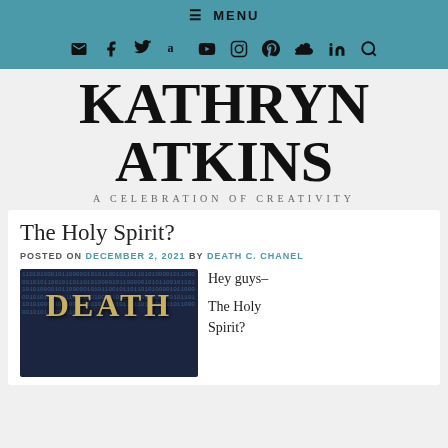≡ MENU
[Figure (infographic): Social media icon bar with email, Facebook, Twitter, Amazon, YouTube, Instagram, Pinterest, SoundCloud, LinkedIn, and Search icons on teal background]
KATHRYN ATKINS
A CELEBRATION OF CREATIVITY
The Holy Spirit?
POSTED ON DECEMBER 2, 2021 BY DEATH C. CHANEL
[Figure (photo): Book cover showing 'DEATH' text in gold serif letters on a dark blue binary code background]
Hey guys–

The Holy Spirit?